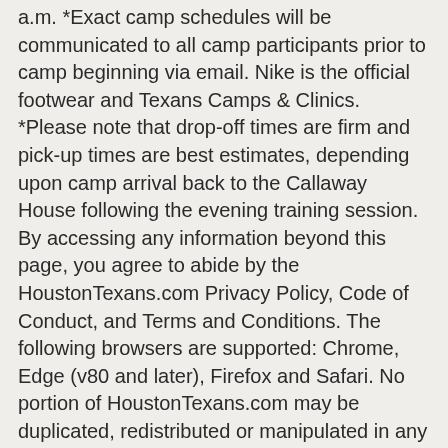a.m. *Exact camp schedules will be communicated to all camp participants prior to camp beginning via email. Nike is the official footwear and Texans Camps & Clinics. *Please note that drop-off times are firm and pick-up times are best estimates, depending upon camp arrival back to the Callaway House following the evening training session. By accessing any information beyond this page, you agree to abide by the HoustonTexans.com Privacy Policy, Code of Conduct, and Terms and Conditions. The following browsers are supported: Chrome, Edge (v80 and later), Firefox and Safari. No portion of HoustonTexans.com may be duplicated, redistributed or manipulated in any form. 9:30 p.m. - Pizza Delivery (if purchased) .lobar-content p a, .lobar-content p a:link { height: auto !important; color: white !important; background-color:#13aa37 !important; padding:5px 8px !important; margin-left:10px !important; !important; margin-top: font-size:13px !important;